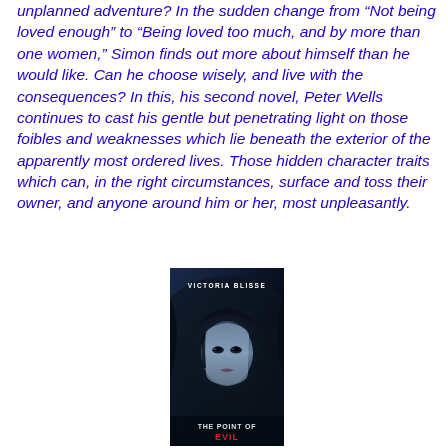unplanned adventure? In the sudden change from “Not being loved enough” to “Being loved too much, and by more than one women,” Simon finds out more about himself than he would like. Can he choose wisely, and live with the consequences? In this, his second novel, Peter Wells continues to cast his gentle but penetrating light on those foibles and weaknesses which lie beneath the exterior of the apparently most ordered lives. Those hidden character traits which can, in the right circumstances, surface and toss their owner, and anyone around him or her, most unpleasantly.
[Figure (photo): Book cover of 'The Point of Evil' by Victoria Blisse, showing a woman's face partially in shadow with dark blue tones, text reads VICTORIA BLISSE at top and THE POINT OF EVIL at bottom.]